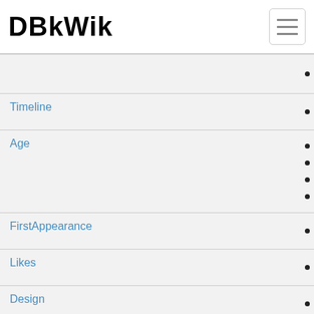DBkWik
Timeline
Age
FirstAppearance
Likes
Design
Series